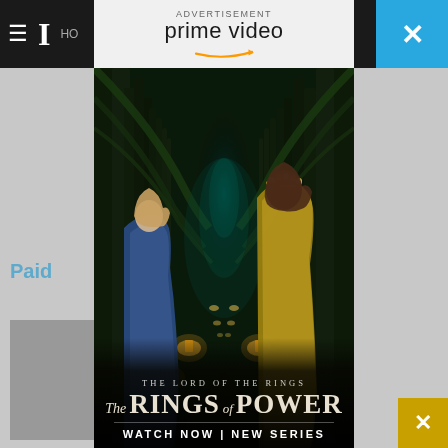Background website navigation bar with hamburger menu, logo, HO text
[Figure (screenshot): Amazon Prime Video advertisement overlay showing The Lord of the Rings: The Rings of Power promotional image. Two female elven characters in elaborate cloaks stand in a glowing forest tunnel lined with lanterns. Left character wears a deep blue cloak, right character wears a golden-yellow cloak with a floral crown. The ad header shows the Prime Video logo with Amazon smile, labeled ADVERTISEMENT. Bottom text reads: THE LORD OF THE RINGS / THE RINGS OF POWER / WATCH NOW | NEW SERIES]
ADVERTISEMENT
prime video
THE LORD OF THE RINGS
THE RINGS OF POWER
WATCH NOW | NEW SERIES
Paid